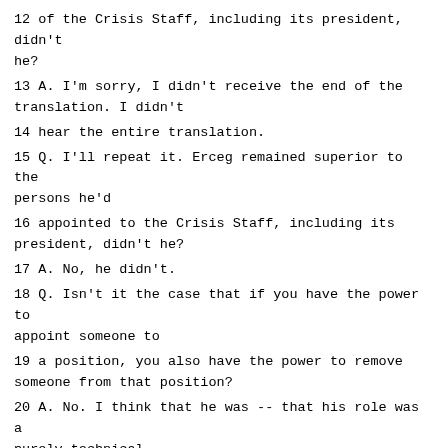12 of the Crisis Staff, including its president, didn't he?
13 A. I'm sorry, I didn't receive the end of the translation. I didn't
14 hear the entire translation.
15 Q. I'll repeat it. Erceg remained superior to the persons he'd
16 appointed to the Crisis Staff, including its president, didn't he?
17 A. No, he didn't.
18 Q. Isn't it the case that if you have the power to appoint someone to
19 a position, you also have the power to remove someone from that position?
20 A. No. I think that he was -- that his role was a purely technical
21 one, that he was to prepare the adoption of decisions of the Crisis
22 Staff. He, as a member of the Crisis Staff, couldn't be superior to the